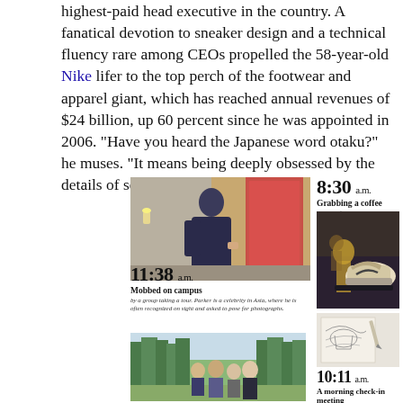highest-paid head executive in the country. A fanatical devotion to sneaker design and a technical fluency rare among CEOs propelled the 58-year-old Nike lifer to the top perch of the footwear and apparel giant, which has reached annual revenues of $24 billion, up 60 percent since he was appointed in 2006. "Have you heard the Japanese word otaku?" he muses. "It means being deeply obsessed by the details of something. I relate to that."
[Figure (photo): Man in dark jacket standing in a hallway near a red-framed door]
8:30 a.m. Grabbing a coffee shortly after arriving at the office. An early riser, he's been up since five and has already worked out.
[Figure (photo): Vintage Nike sneaker on display]
11:38 a.m. Mobbed on campus by a group taking a tour. Parker is a celebrity in Asia, where he is often recognized on sight and asked to pose for photographs.
[Figure (photo): Group photo outdoors on campus with trees in background]
[Figure (photo): Architectural drawing or design sketch]
10:11 a.m. A morning check-in meeting